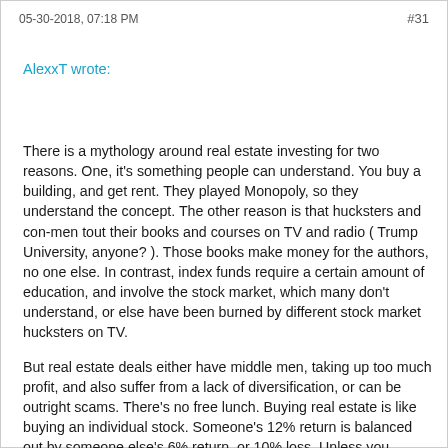05-30-2018, 07:18 PM   #31
AlexxT wrote:
There is a mythology around real estate investing for two reasons.  One, it's something people can understand.  You buy a building, and get rent.  They played Monopoly, so they understand the concept.  The other reason is that hucksters and con-men tout their books and courses on TV and radio  ( Trump University, anyone? ).  Those books make money for the authors, no one else.  In contrast, index funds require a certain amount of education, and involve the stock market, which many don't understand, or else have been burned by different stock market hucksters on TV.
But real estate deals either have middle men, taking up too much profit, and also suffer from a lack of diversification, or can be outright scams.  There's no free lunch.  Buying real estate is like buying an individual stock.  Someone's 12% return is balanced out by someone else's 6% return, or 10% loss.  Unless you